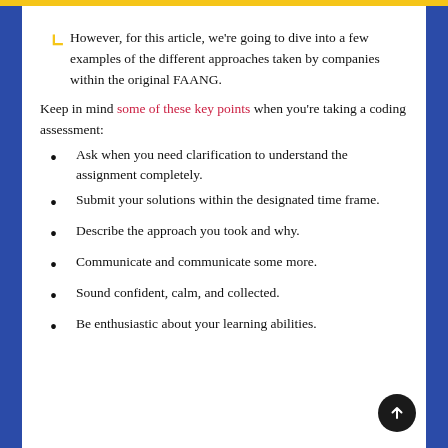However, for this article, we're going to dive into a few examples of the different approaches taken by companies within the original FAANG.
Keep in mind some of these key points when you're taking a coding assessment:
Ask when you need clarification to understand the assignment completely.
Submit your solutions within the designated time frame.
Describe the approach you took and why.
Communicate and communicate some more.
Sound confident, calm, and collected.
Be enthusiastic about your learning abilities.